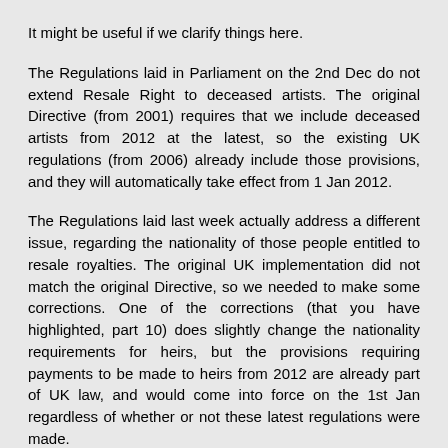It might be useful if we clarify things here.
The Regulations laid in Parliament on the 2nd Dec do not extend Resale Right to deceased artists. The original Directive (from 2001) requires that we include deceased artists from 2012 at the latest, so the existing UK regulations (from 2006) already include those provisions, and they will automatically take effect from 1 Jan 2012.
The Regulations laid last week actually address a different issue, regarding the nationality of those people entitled to resale royalties. The original UK implementation did not match the original Directive, so we needed to make some corrections. One of the corrections (that you have highlighted, part 10) does slightly change the nationality requirements for heirs, but the provisions requiring payments to be made to heirs from 2012 are already part of UK law, and would come into force on the 1st Jan regardless of whether or not these latest regulations were made.